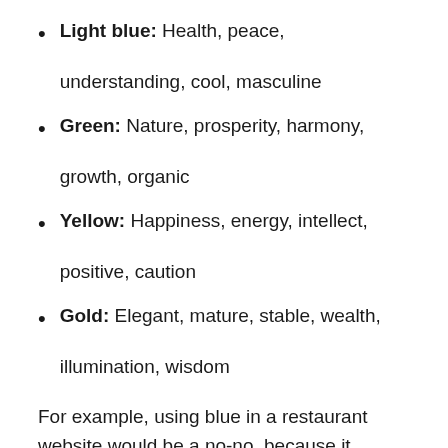Light blue: Health, peace, understanding, cool, masculine
Green: Nature, prosperity, harmony, growth, organic
Yellow: Happiness, energy, intellect, positive, caution
Gold: Elegant, mature, stable, wealth, illumination, wisdom
For example, using blue in a restaurant website would be a no-no, because it suppresses appetite. But on the other hand, it is perfect for corporations.